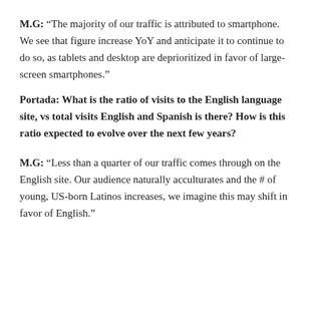M.G: “The majority of our traffic is attributed to smartphone. We see that figure increase YoY and anticipate it to continue to do so, as tablets and desktop are deprioritized in favor of large-screen smartphones.”
Portada: What is the ratio of visits to the English language site, vs total visits English and Spanish is there? How is this ratio expected to evolve over the next few years?
M.G: “Less than a quarter of our traffic comes through on the English site. Our audience naturally acculturates and the # of young, US-born Latinos increases, we imagine this may shift in favor of English.”